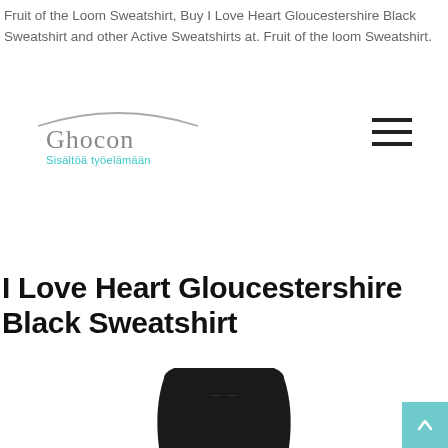Fruit of the Loom Sweatshirt, Buy I Love Heart Gloucestershire Black Sweatshirt and other Active Sweatshirts at. Fruit of the loom Sweatshirt.
[Figure (logo): Ghocon logo with text 'Ghocon' in grey and subtitle 'Sisältöä työelämään' in teal, with a curved swoosh above the text]
[Figure (other): Hamburger menu icon with three horizontal lines]
I Love Heart Gloucestershire Black Sweatshirt
[Figure (photo): Bottom portion of a black sweatshirt product photo, showing the top/hood area of a dark garment on white background]
[Figure (other): Teal scroll-to-top button with upward arrow in bottom right corner]